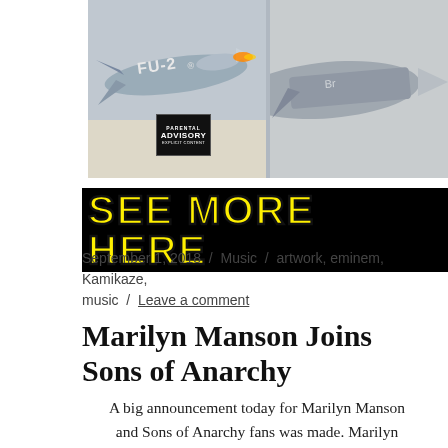[Figure (photo): Two side-by-side photos of military jet/missile aircraft with FU-2 marking visible on the left image, and a Parental Advisory Explicit Content sticker on the left image]
SEE MORE HERE
September 1, 2018 / Music / artwork, eminem, Kamikaze, music / Leave a comment
Marilyn Manson Joins Sons of Anarchy
A big announcement today for Marilyn Manson and Sons of Anarchy fans was made. Marilyn Manson will appear as a reoccurring character